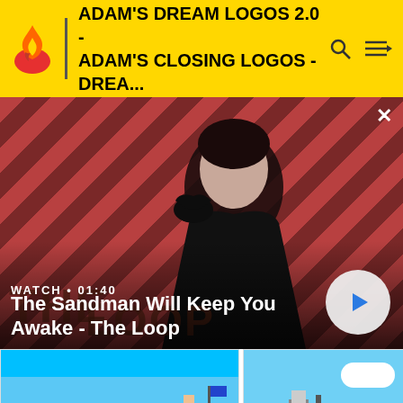ADAM'S DREAM LOGOS 2.0 - ADAM'S CLOSING LOGOS - DREA...
[Figure (screenshot): Video thumbnail showing a dark-robed figure with a raven against a red diagonal-striped background. Text overlay reads 'WATCH • 01:40' and title 'The Sandman Will Keep You Awake - The Loop' with a play button circle on the right.]
WATCH • 01:40
The Sandman Will Keep You Awake - The Loop
[Figure (screenshot): Left card: Argosy Media Entertainment logo card with pixel-art animation still showing cartoon characters. Text: 'Argosy Media Entertainment / AN ARGOSY ENTERTAINMENT COMPANY / (c) 1995 Argosy Incorporated']
[Figure (screenshot): Right card: Argosy Media Entertainment logo card with pixel-art animation still. Text: 'Argosy Media Entertainment / AN ARGOSY ENTERTAINMENT COMPANY / (c) 1994 Argosy Incorporated']